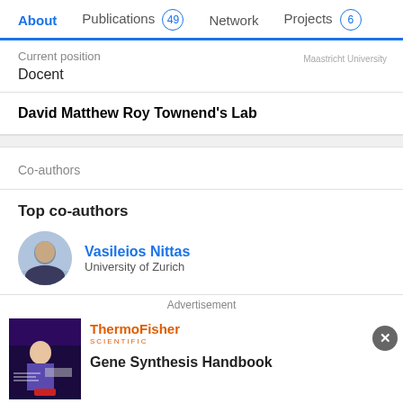About | Publications 49 | Network | Projects 6
Current position
Docent
Maastricht University
David Matthew Roy Townend's Lab
Co-authors
Top co-authors
Vasileios Nittas
University of Zurich
Advertisement
[Figure (photo): ThermoFisher Scientific advertisement banner with a lab photo]
Gene Synthesis Handbook